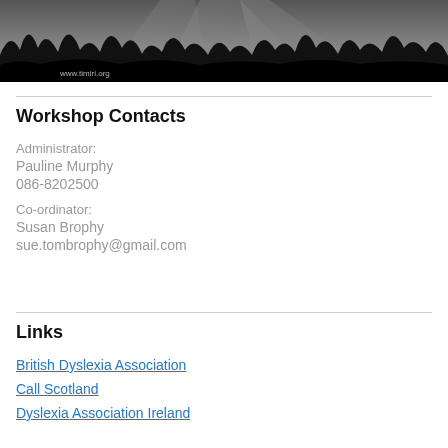[Figure (photo): Black and white landscape banner with mountains and trees, www.timiri.org watermark in bottom left]
Workshop Contacts
Administrator:
Pauline Murphy
086-8202500
Co-ordinator:
Susan Brophy
sue.tombrophy@gmail.com
Links
British Dyslexia Association
Call Scotland
Dyslexia Association Ireland